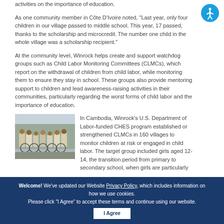activities on the importance of education.
As one community member in Côte D'Ivoire noted, "Last year, only four children in our village passed to middle school. This year, 17 passed, thanks to the scholarship and microcredit. The number one child in the whole village was a scholarship recipient."
At the community level, Winrock helps create and support watchdog groups such as Child Labor Monitoring Committees (CLMCs), which report on the withdrawal of children from child labor, while monitoring them to ensure they stay in school. These groups also provide mentoring support to children and lead awareness-raising activities in their communities, particularly regarding the worst forms of child labor and the importance of education.
[Figure (photo): Group of students with bicycles in Cambodia]
In Cambodia, Winrock's U.S. Department of Labor-funded CHES program established or strengthened CLMCs in 160 villages to monitor children at risk or engaged in child labor. The target group included girls aged 12-14, the transition period from primary to secondary school, when girls are particularly vulnerable to dropping out and migrating to work in garment factories in Phnom Penh. There they face unpleasant or abusive working conditions and – if fired or laid off – are at risk of being trafficked for commercial sexual exploitation.
Welcome! We've updated our Website Privacy Policy, which includes information on how we use cookies.
Please click "I Agree" to accept these terms and continue using our website.
I Agree